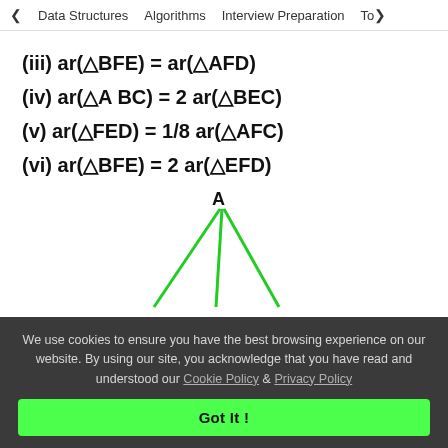< Data Structures   Algorithms   Interview Preparation   To>
[Figure (illustration): Triangle with vertex A at top, two green lines going down-left and down-right forming the sides of a triangle, with label A at the apex.]
We use cookies to ensure you have the best browsing experience on our website. By using our site, you acknowledge that you have read and understood our Cookie Policy & Privacy Policy
Got It !